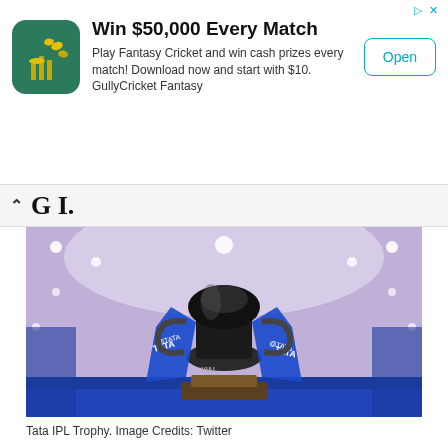[Figure (other): Advertisement banner: GullyCricket Fantasy app ad with icon showing cricket stumps on green background. Text: Win $50,000 Every Match. Play Fantasy Cricket and win cash prizes every match! Download now and start with $10. GullyCricket Fantasy. Open button.]
G I.
[Figure (photo): Tata IPL Trophy displayed on a table with blue TATA-branded sashes draped over it, set against a decorated hall with ceiling lights and blue decorative elements.]
Tata IPL Trophy. Image Credits: Twitter
CSK winning their first game has brought their campaign in the balance. They need to string